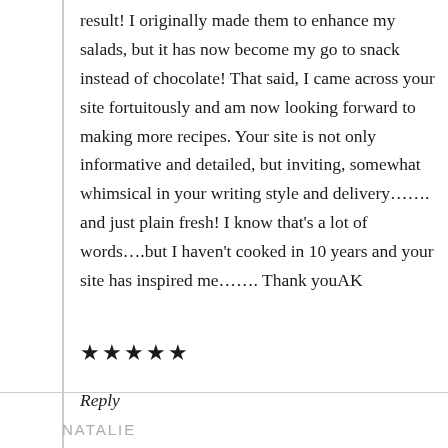result! I originally made them to enhance my salads, but it has now become my go to snack instead of chocolate! That said, I came across your site fortuitously and am now looking forward to making more recipes. Your site is not only informative and detailed, but inviting, somewhat whimsical in your writing style and delivery……. and just plain fresh! I know that's a lot of words….but I haven't cooked in 10 years and your site has inspired me……. Thank youAK
★★★★★
Reply
NATALIE